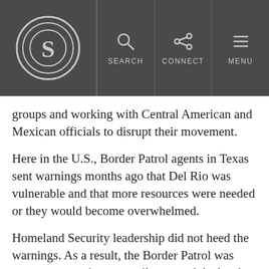S logo | SEARCH | CONNECT | MENU
groups and working with Central American and Mexican officials to disrupt their movement.
Here in the U.S., Border Patrol agents in Texas sent warnings months ago that Del Rio was vulnerable and that more resources were needed or they would become overwhelmed.
Homeland Security leadership did not heed the warnings. As a result, the Border Patrol was overcome as migrants easily crossed the border illegally in numbers that rapidly rose from 4,000 to 8,000 to 15,000 in just a few days.
Thankfully, a persistent reporter, Bill Melugin with Fox